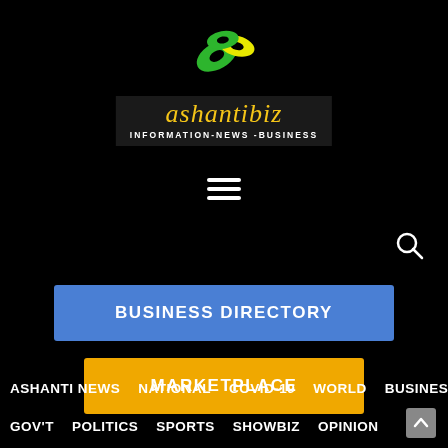[Figure (logo): Ashantibiz logo with green and yellow abstract shapes above text, with tagline INFORMATION-NEWS-BUSINESS]
[Figure (other): Hamburger menu icon (three horizontal white lines)]
[Figure (other): Search magnifying glass icon]
BUSINESS DIRECTORY
MARKETPLACE
ASHANTI NEWS
NATIONAL
COVID-19
WORLD
BUSINESS
GOV'T
POLITICS
SPORTS
SHOWBIZ
OPINION